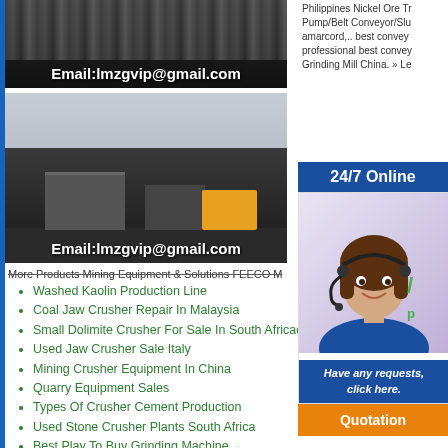[Figure (photo): Mining/crushing equipment with email overlay: Email:lmzgvip@gmail.com on dark background]
[Figure (photo): Open-pit mining site with loaders and conveyor equipment, dark ground, with email overlay: Email:lmzgvip@gmail.com]
More Products Mining Equipment & Solutions FEECO M...
Washed Kaolin Production Line
Coal Jaw Crusher Repair In Malaysia
Small Dolimite Crusher For Sale In South Africac
Used Jaw Crusher Sale Italy
Mining Crusher Equipment In China
Quarry Equipment Sales
Types Of Crusher Cement Production
Used Stone Crusher Plants South Africa
Best Play To Buy Grinding Machine
Agen Mesin Roll Mill Indonesia
Eagle Portable Stone Crusher
Small Roller Stone Crusher Nose Co
Philippines Nickel Ore Tr... Pump/Belt Conveyor/Slu... amarcord,.. best convey... professional best convey... Grinding Mill China. » Le...
24/7 Online
[Figure (photo): Female customer service agent wearing headset, smiling, in blue uniform]
Have any requests, click here.
Quotation